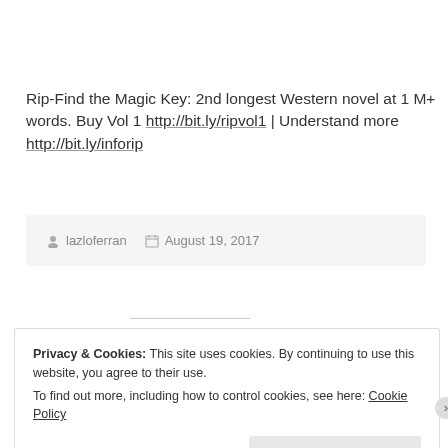Rip-Find the Magic Key: 2nd longest Western novel at 1 M+ words. Buy Vol 1 http://bit.ly/ripvol1 | Understand more http://bit.ly/inforip
lazloferran   August 19, 2017
Privacy & Cookies: This site uses cookies. By continuing to use this website, you agree to their use. To find out more, including how to control cookies, see here: Cookie Policy